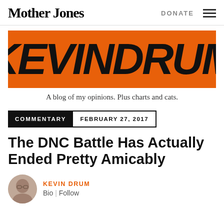Mother Jones | DONATE
[Figure (logo): Kevin Drum blog banner — large stylized bold text 'KEVIN DRUM' on orange background with illustrated icons embedded in letters]
A blog of my opinions. Plus charts and cats.
COMMENTARY  FEBRUARY 27, 2017
The DNC Battle Has Actually Ended Pretty Amicably
KEVIN DRUM
Bio | Follow